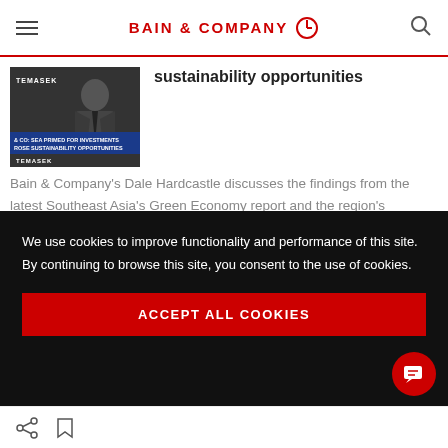BAIN & COMPANY
sustainability opportunities
Bain & Company's Dale Hardcastle discusses the findings from the latest Southeast Asia's Green Economy report and the region's commitment to net-zero targets with CNBC's Sri Jegarajah on Street Signs Asia.
Read more ▶
We use cookies to improve functionality and performance of this site. By continuing to browse this site, you consent to the use of cookies.
ACCEPT ALL COOKIES